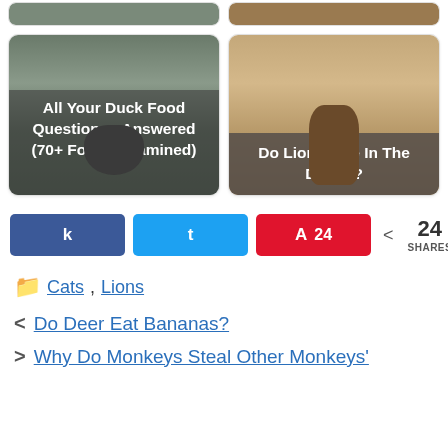[Figure (photo): Partial top of two article cards, partially visible]
[Figure (photo): Article card with duck image and text overlay: All Your Duck Food Questions - Answered (70+ Foods Examined)]
[Figure (photo): Article card with lion image and text overlay: Do Lions Live In The Desert?]
k  t  A 24  < 24 SHARES
Cats, Lions
< Do Deer Eat Bananas?
> Why Do Monkeys Steal Other Monkeys'